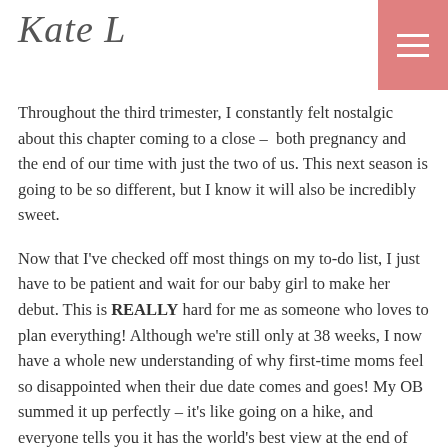Kate L
Throughout the third trimester, I constantly felt nostalgic about this chapter coming to a close – both pregnancy and the end of our time with just the two of us. This next season is going to be so different, but I know it will also be incredibly sweet.
Now that I've checked off most things on my to-do list, I just have to be patient and wait for our baby girl to make her debut. This is REALLY hard for me as someone who loves to plan everything! Although we're still only at 38 weeks, I now have a whole new understanding of why first-time moms feel so disappointed when their due date comes and goes! My OB summed it up perfectly – it's like going on a hike, and everyone tells you it has the world's best view at the end of the trail, but you have no idea when the hike is going to be over. And you're trying to save your energy for the big climb at the finish line, but who knows when that's coming??